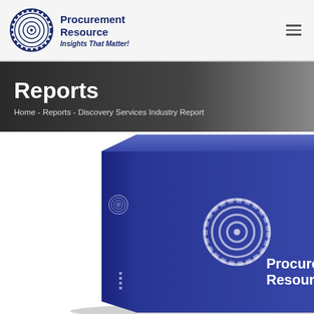Procurement Resource – Insights That Matter!
Reports
Home  -  Reports  -  Discovery Services Industry Report
[Figure (illustration): 3D blue hardcover book/binder showing Procurement Resource logo and name on the front cover and spine, angled perspective view]